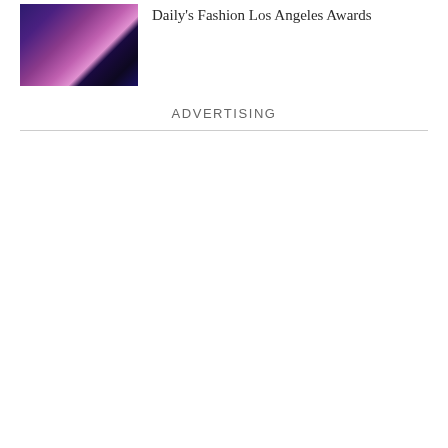[Figure (photo): Group photo of women at the Daily's Fashion Los Angeles Awards event]
Daily's Fashion Los Angeles Awards
ADVERTISING